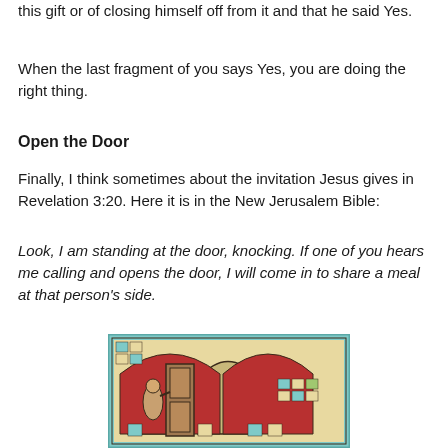this gift or of closing himself off from it and that he said Yes.
When the last fragment of you says Yes, you are doing the right thing.
Open the Door
Finally, I think sometimes about the invitation Jesus gives in Revelation 3:20. Here it is in the New Jerusalem Bible:
Look, I am standing at the door, knocking. If one of you hears me calling and opens the door, I will come in to share a meal at that person's side.
[Figure (illustration): Stained glass window depicting a figure (Jesus) standing at a door, knocking. The image shows arched doorways with mosaic-style colored glass in blues, reds, greens, and warm yellows/creams.]